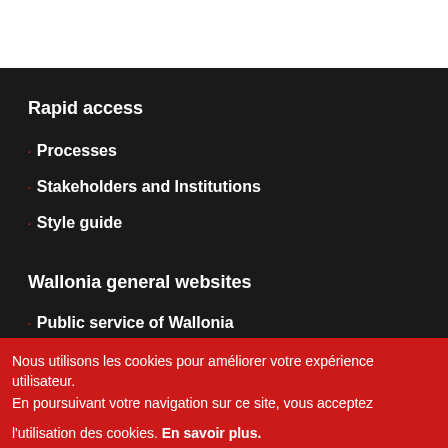Rapid access
Processes
Stakeholders and Institutions
Style guide
Wallonia general websites
Public service of Wallonia
Nous utilisons les cookies pour améliorer votre expérience utilisateur.
En poursuivant votre navigation sur ce site, vous acceptez
l'utilisation des cookies. En savoir plus.